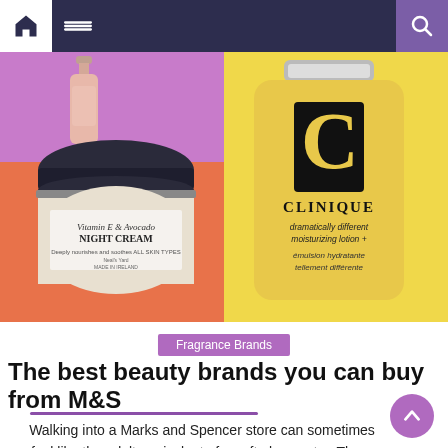[Figure (screenshot): Website navigation bar with home icon, hamburger menu, and search icon on dark navy background]
[Figure (photo): Hero image collage: left side purple top with pink bottle, orange bottom with Neal's Yard Vitamin E & Avocado Night Cream jar; right side yellow background with Clinique Dramatically Different Moisturizing Lotion+ bottle]
Fragrance Brands
The best beauty brands you can buy from M&S
Walking into a Marks and Spencer store can sometimes feel like the adult equivalent of a soft play center. There clothes, home, food, beauty – so many departments to